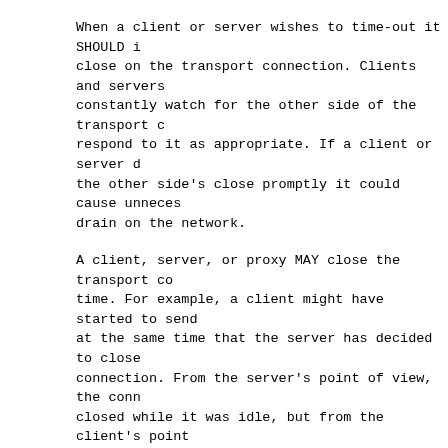When a client or server wishes to time-out it SHOULD i close on the transport connection. Clients and servers constantly watch for the other side of the transport c respond to it as appropriate. If a client or server d the other side's close promptly it could cause unneces drain on the network.
A client, server, or proxy MAY close the transport co time. For example, a client might have started to sen at the same time that the server has decided to close connection. From the server's point of view, the conn closed while it was idle, but from the client's point request is in progress.
This means that clients, servers, and proxies MUST b from asynchronous close events. Client software SHOUL transport connection and retransmit the aborted seque without user interaction so long as the request seque idempotent (see section 9.1.2). Non-idempotent method MUST NOT be automatically retried, although user agen human operator the choice of retrying the request(s). user-agent software with semantic understanding of th MAY substitute for user confirmation. The automatic r be repeated if the second sequence of requests fails.
Servers SHOULD always respond to at least one request if at all possible. Servers SHOULD NOT close a connect middle of transmitting a response, unless a network o